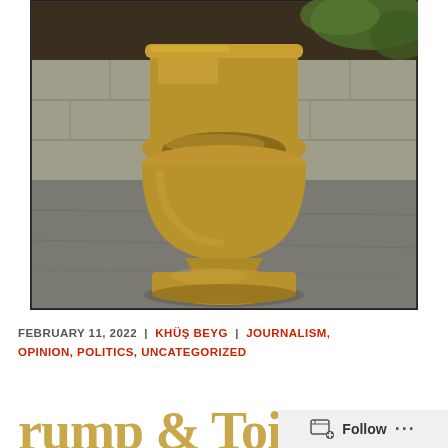[Figure (photo): A gold-painted toilet sitting on concrete pavement outdoors, with a stone wall and greenery in the background.]
FEBRUARY 11, 2022  |  KHÜŞ BEYG  |  JOURNALISM, OPINION, POLITICS, UNCATEGORIZED
Trump & Toilets